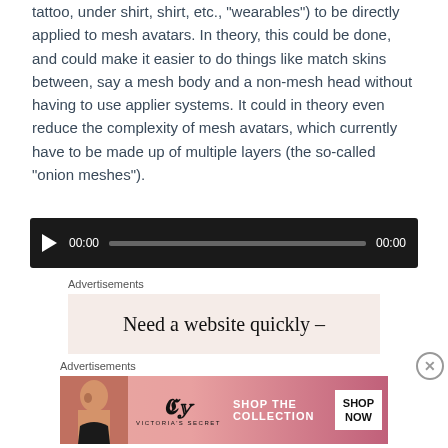tattoo, under shirt, shirt, etc., "wearables") to be directly applied to mesh avatars. In theory, this could be done, and could make it easier to do things like match skins between, say a mesh body and a non-mesh head without having to use applier systems. It could in theory even reduce the complexity of mesh avatars, which currently have to be made up of multiple layers (the so-called "onion meshes").
[Figure (other): Audio player widget with dark background, play button, time stamps 00:00 and 00:00, and a grey progress bar.]
Advertisements
[Figure (other): Advertisement banner with pink/beige background displaying text: Need a website quickly –]
Advertisements
[Figure (other): Victoria's Secret advertisement banner with pink gradient background. Shows a model on the left, VS logo in center, text SHOP THE COLLECTION, and a SHOP NOW button.]